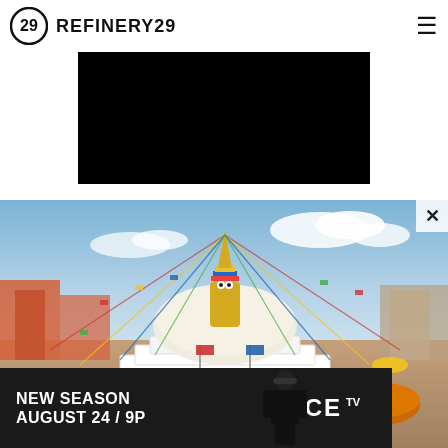REFINERY29
[Figure (other): Black rectangle banner/ad placeholder]
[Figure (photo): Aerial view of Boudhanath Stupa in Kathmandu, Nepal, surrounded by monks in red and orange robes seated around the stupa, with colorful prayer flags radiating from the central spire, orange and red buildings in the background, blue sky with clouds]
[Figure (other): VICE TV advertisement banner: dark background with 'NEW SEASON AUGUST 24 / 9P' in white bold text, VICE TV logo, police officer silhouette figure]